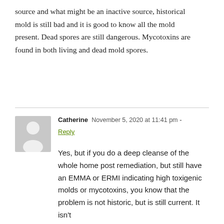source and what might be an inactive source, historical mold is still bad and it is good to know all the mold present. Dead spores are still dangerous. Mycotoxins are found in both living and dead mold spores.
Catherine  November 5, 2020 at 11:41 pm  Reply
Yes, but if you do a deep cleanse of the whole home post remediation, but still have an EMMA or ERMI indicating high toxigenic molds or mycotoxins, you know that the problem is not historic, but is still current. It isn't